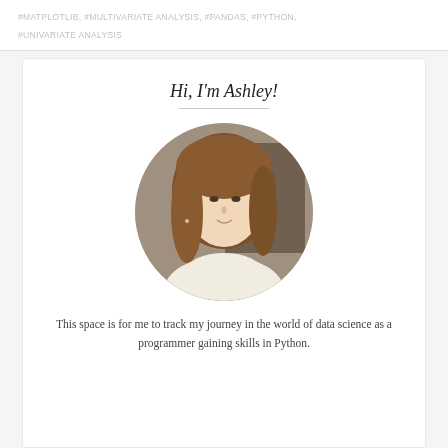#MATPLOTLIB, #MULTIVARIATE ANALYSIS, #PANDAS, #PYTHON, #UNIVARIATE ANALYSIS
Hi, I'm Ashley!
[Figure (photo): Circular cropped portrait photo of a young woman with long brown hair wearing a light/white top, in an indoor setting.]
This space is for me to track my journey in the world of data science as a programmer gaining skills in Python.